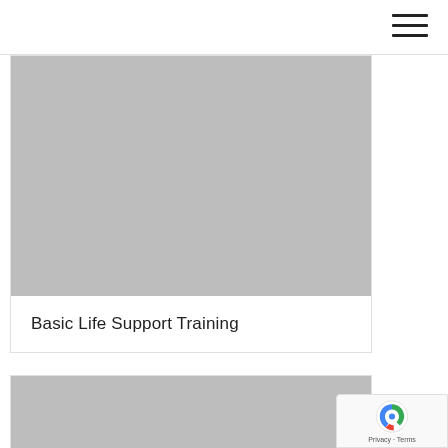[Figure (photo): Grey placeholder image for Basic Life Support Training card]
Basic Life Support Training
[Figure (photo): Grey placeholder image for second card (partially visible)]